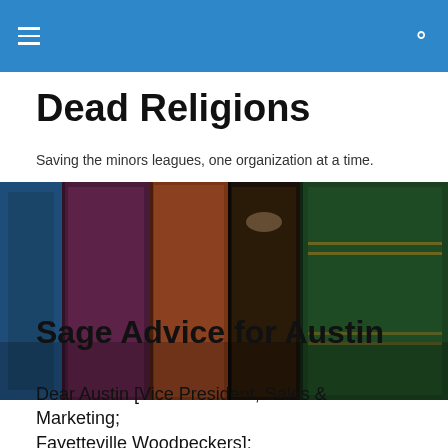Dead Religions
Dead Religions
Saving the minors leagues, one organization at a time.
[Figure (photo): Close-up of old book spines lined up together, showing blue, purple, brown, dark, and green leather-bound books viewed from the top.]
Sage Advice for Austin
Dear Austin [Vice President, Sales & Marketing; Fayetteville Woodpeckers]: